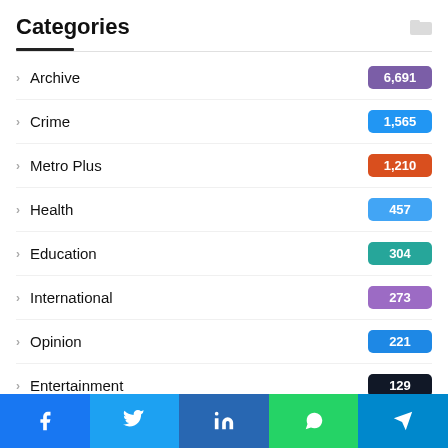Categories
Archive 6,691
Crime 1,565
Metro Plus 1,210
Health 457
Education 304
International 273
Opinion 221
Entertainment 129
Features 83
Sports